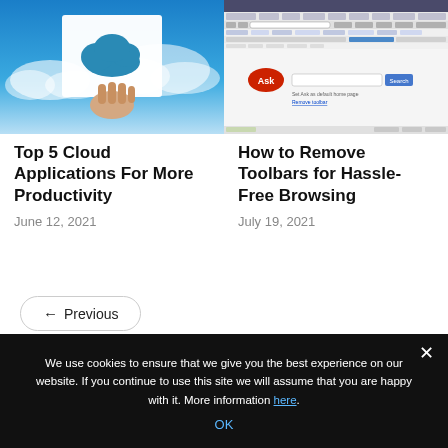[Figure (photo): Hand holding a white paper cutout of a cloud symbol against a blue sky with real clouds in background]
Top 5 Cloud Applications For More Productivity
June 12, 2021
[Figure (screenshot): Screenshot of an old web browser with many toolbars and the Ask.com search engine visible]
How to Remove Toolbars for Hassle-Free Browsing
July 19, 2021
← Previous
We use cookies to ensure that we give you the best experience on our website. If you continue to use this site we will assume that you are happy with it. More information here.
OK